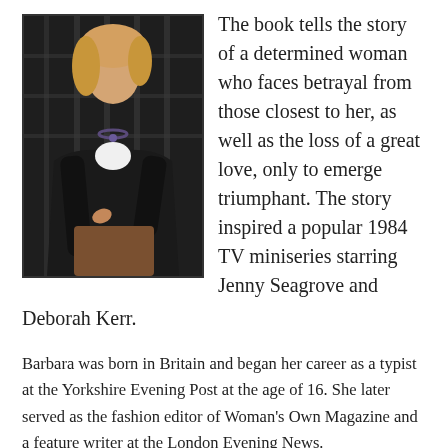[Figure (photo): Portrait photo of a woman with blonde hair wearing a black jacket and white top with a necklace, seated indoors near a window.]
The book tells the story of a determined woman who faces betrayal from those closest to her, as well as the loss of a great love, only to emerge triumphant. The story inspired a popular 1984 TV miniseries starring Jenny Seagrove and Deborah Kerr.
Barbara was born in Britain and began her career as a typist at the Yorkshire Evening Post at the age of 16. She later served as the fashion editor of Woman’s Own Magazine and a feature writer at the London Evening News.
In 1999, Barbara became the first living female author to